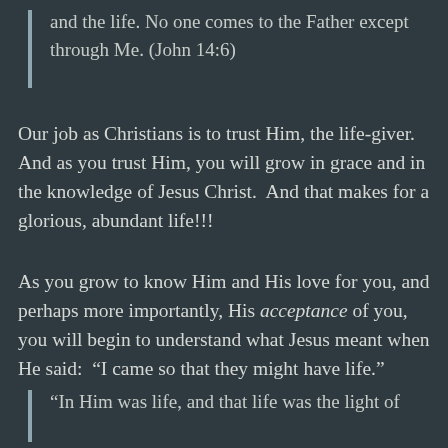and the life. No one comes to the Father except through Me. (John 14:6)
Our job as Christians is to trust Him, the life-giver. And as you trust Him, you will grow in grace and in the knowledge of Jesus Christ. And that makes for a glorious, abundant life!!!
As you grow to know Him and His love for you, and perhaps more importantly, His acceptance of you, you will begin to understand what Jesus meant when He said: “I came so that they might have life.”
“In Him was life, and that life was the light of